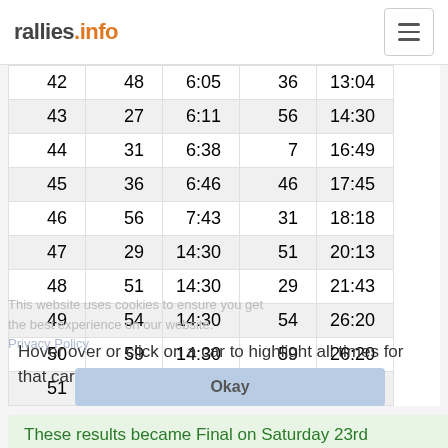rallies.info
| 42 | 48 | 6:05 | 36 | 13:04 |
| 43 | 27 | 6:11 | 56 | 14:30 |
| 44 | 31 | 6:38 | 7 | 16:49 |
| 45 | 36 | 6:46 | 46 | 17:45 |
| 46 | 56 | 7:43 | 31 | 18:18 |
| 47 | 29 | 14:30 | 51 | 20:13 |
| 48 | 51 | 14:30 | 29 | 21:43 |
| 49 | 54 | 14:30 | 54 | 26:20 |
| 50 | 59 | 14:30 | 59 | 26:20 |
| 51 | 61 | 14:30 | 61 | 26:20 |
This website uses cookies to ensure you get the best experience on our website. Privacy Policy
Hover over or click on a car to highlight all times for that car
Okay
These results became Final on Saturday 23rd